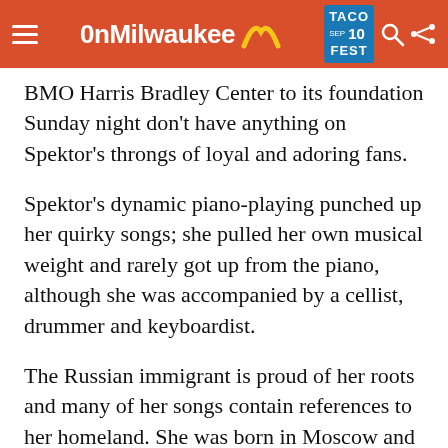OnMilwaukee
BMO Harris Bradley Center to its foundation Sunday night don't have anything on Spektor's throngs of loyal and adoring fans.
Spektor's dynamic piano-playing punched up her quirky songs; she pulled her own musical weight and rarely got up from the piano, although she was accompanied by a cellist, drummer and keyboardist.
The Russian immigrant is proud of her roots and many of her songs contain references to her homeland. She was born in Moscow and emigrated with her family in 1989 (kudos, perestroika). Her nationality was proudly on